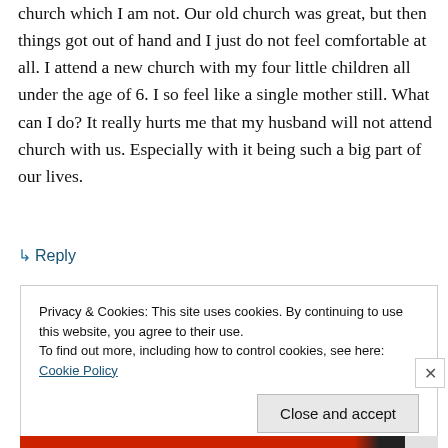church which I am not. Our old church was great, but then things got out of hand and I just do not feel comfortable at all. I attend a new church with my four little children all under the age of 6. I so feel like a single mother still. What can I do? It really hurts me that my husband will not attend church with us. Especially with it being such a big part of our lives.
↳ Reply
Privacy & Cookies: This site uses cookies. By continuing to use this website, you agree to their use.
To find out more, including how to control cookies, see here: Cookie Policy
Close and accept